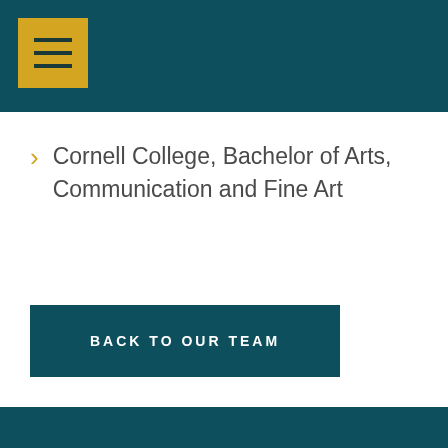Cornell College, Bachelor of Arts, Communication and Fine Art
BACK TO OUR TEAM
About